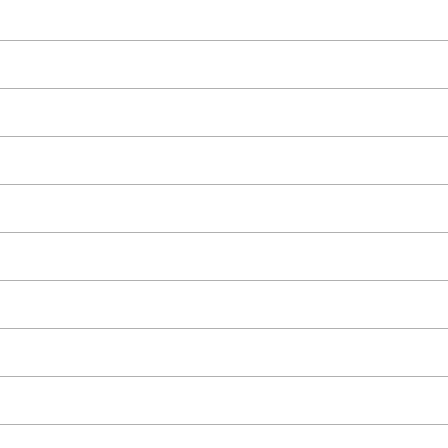| Channel |
| --- |
| BNN Business News... |
| Bravo |
| Cartoon Network |
| CBC News Network |
| CBC Total |
| CHCH |
| CHEK |
| CHRGD |
| City Calgary (CKAL) |
| City Edmonton (CKEI...) |
| City Montreal (CJNT) |
| City Ontario (CITY) |
| City Total |
| City Vancouver (CKV...) |
| CMT |